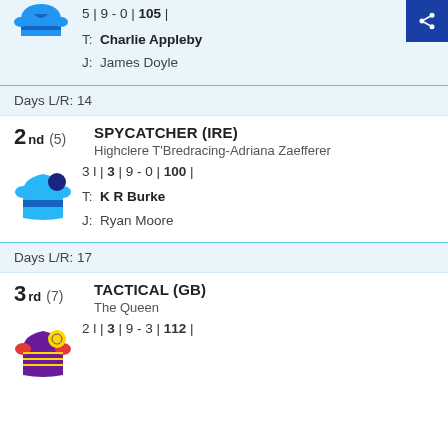5 | 9 - 0 | 105 |
T: Charlie Appleby
J: James Doyle
Days L/R: 14
2nd (5) SPYCATCHER (IRE)
Highclere T'Bredracing-Adriana Zaefferer
3 l | 3 | 9 - 0 | 100 |
T: K R Burke
J: Ryan Moore
Days L/R: 17
3rd (7) TACTICAL (GB)
The Queen
2 l | 3 | 9 - 3 | 112 |